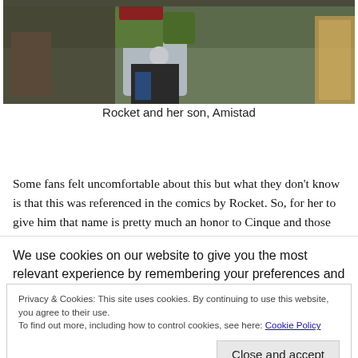[Figure (screenshot): Anime screenshot showing a character (Rocket) with her son Amistad, partial view of animated figures against a dark background]
Rocket and her son, Amistad
Some fans felt uncomfortable about this but what they don't know is that this was referenced in the comics by Rocket. So, for her to give him that name is pretty much an honor to Cinque and those who lost their lives on the Amistad fighting for their
We use cookies on our website to give you the most relevant experience by remembering your preferences and
Privacy & Cookies: This site uses cookies. By continuing to use this website, you agree to their use.
To find out more, including how to control cookies, see here: Cookie Policy
Close and accept